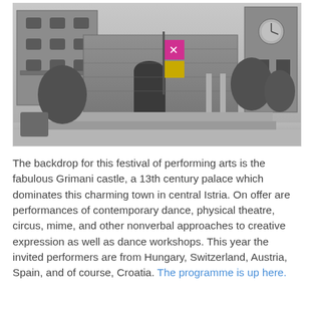[Figure (photo): Black and white photograph of the Grimani castle, a medieval stone palace with towers, walls, and banners. The castle dominates a central European town square.]
The backdrop for this festival of performing arts is the fabulous Grimani castle, a 13th century palace which dominates this charming town in central Istria. On offer are performances of contemporary dance, physical theatre, circus, mime, and other nonverbal approaches to creative expression as well as dance workshops. This year the invited performers are from Hungary, Switzerland, Austria, Spain, and of course, Croatia. The programme is up here.